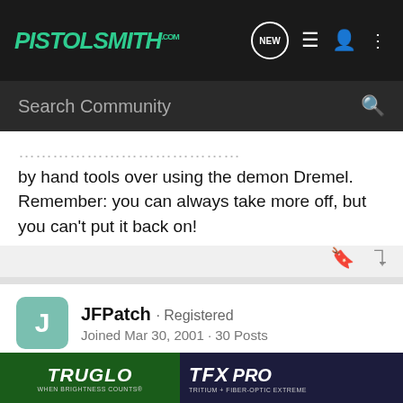PISTOLSMITH.com
Search Community
by hand tools over using the demon Dremel. Remember: you can always take more off, but you can't put it back on!
JFPatch · Registered
Joined Mar 30, 2001 · 30 Posts
Discussion Starter · #4 · Apr 3, 2001
Thank you. The insight both of you provided is helpful. Perhaps I should try this on a piece of scrap before attempting to turn a perfectly good slide into a practice on.
[Figure (screenshot): TruGlo and TFX Pro advertisement banner at bottom of page]